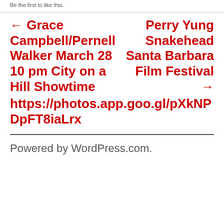Be the first to like this.
← Grace Campbell/Pernell Walker March 28 10 pm City on a Hill Showtime
Perry Yung Snakehead Santa Barbara Film Festival →
https://photos.app.goo.gl/pXkNPDpFT8iaLrx
Powered by WordPress.com.